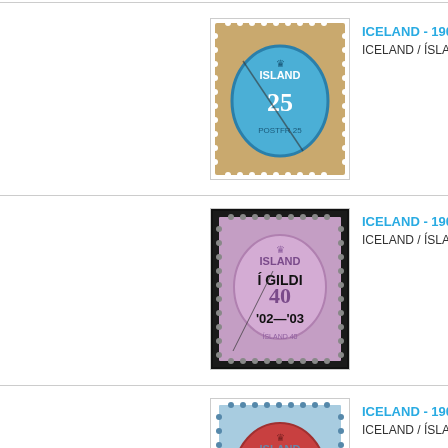[Figure (photo): Iceland 1900 25a stamp - tan/brown outer frame with blue oval center showing crown and '25' denomination, 'ISLAND' text, perforated edges, used with cancel]
ICELAND - 1900 25a
ICELAND / ÍSLAND 1
[Figure (photo): Iceland 1902 40a stamp - mauve/lilac color with black overprint reading 'I GILDI' and '40' denomination and '02-03', 'ISLAND' text, perforated edges, black border mount, used]
ICELAND - 1902 40a
ICELAND / ÍSLAND 1
[Figure (photo): Iceland 1902 50a stamp - blue and red colors with overprint, '50' denomination, 'ISLAND' text, perforated edges, partially visible at bottom of page]